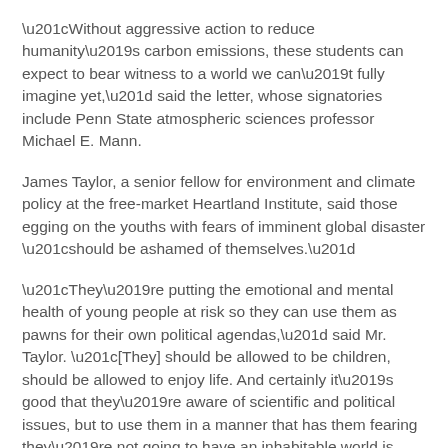“Without aggressive action to reduce humanity’s carbon emissions, these students can expect to bear witness to a world we can’t fully imagine yet,” said the letter, whose signatories include Penn State atmospheric sciences professor Michael E. Mann.
James Taylor, a senior fellow for environment and climate policy at the free-market Heartland Institute, said those egging on the youths with fears of imminent global disaster “should be ashamed of themselves.”
“They’re putting the emotional and mental health of young people at risk so they can use them as pawns for their own political agendas,” said Mr. Taylor. “[They] should be allowed to be children, should be allowed to enjoy life. And certainly it’s good that they’re aware of scientific and political issues, but to use them in a manner that has them fearing they’re not going to have an inhabitable world is borderline abusive.”
climate protest kids youth
Climate Doom: More Moms...